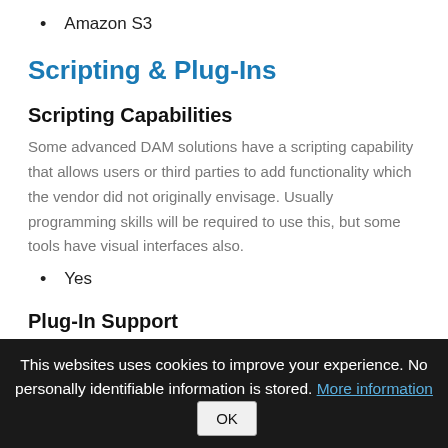Amazon S3
Scripting & Plug-Ins
Scripting Capabilities
Some advanced DAM solutions have a scripting capability that allows users or third parties to add functionality which the vendor did not originally envisage. Usually programming skills will be required to use this, but some tools have visual interfaces also.
Yes
Plug-In Support
This websites uses cookies to improve your experience. No personally identifiable information is stored. More information OK